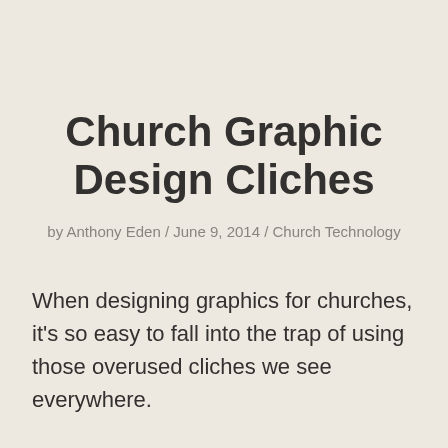Church Graphic Design Cliches
by Anthony Eden / June 9, 2014 / Church Technology
When designing graphics for churches, it's so easy to fall into the trap of using those overused cliches we see everywhere.
For some reason, despite all the creative people